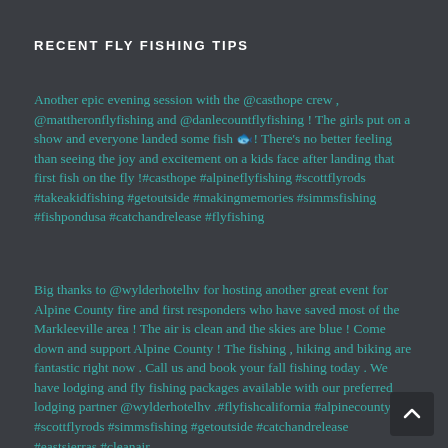RECENT FLY FISHING TIPS
Another epic evening session with the @casthope crew , @mattheronflyfishing and @danlecountflyfishing ! The girls put on a show and everyone landed some fish 🐟! There's no better feeling than seeing the joy and excitement on a kids face after landing that first fish on the fly !#casthope #alpineflyfishing #scottflyrods #takeakidfishing #getoutside #makingmemories #simmsfishing #fishpondusa #catchandrelease #flyfishing
Big thanks to @wylderhotelhv for hosting another great event for Alpine County fire and first responders who have saved most of the Markleeville area ! The air is clean and the skies are blue ! Come down and support Alpine County ! The fishing , hiking and biking are fantastic right now . Call us and book your fall fishing today . We have lodging and fly fishing packages available with our preferred lodging partner @wylderhotelhv .#flyfishcalifornia #alpinecounty #scottflyrods #simmsfishing #getoutside #catchandrelease #eastsierras #cleanair